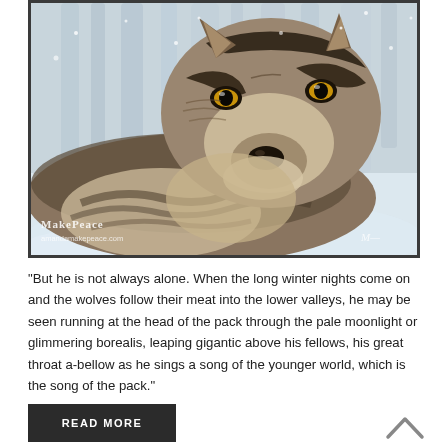[Figure (photo): A close-up photograph of a gray wolf lying in snow, facing the camera with amber eyes. The wolf has dark brown/black and tan/cream fur markings. Snowy trees are blurred in the background. In the lower left corner is the watermark 'MakePeace amandamakepeace.com'. The photo is framed with a dark/black border.]
“But he is not always alone. When the long winter nights come on and the wolves follow their meat into the lower valleys, he may be seen running at the head of the pack through the pale moonlight or glimmering borealis, leaping gigantic above his fellows, his great throat a-bellow as he sings a song of the younger world, which is the song of the pack.”
READ MORE